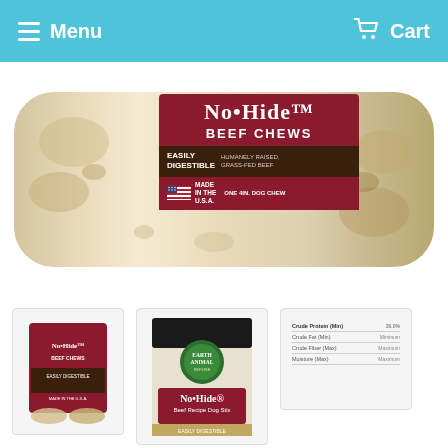Menu   Cart
[Figure (photo): No-Hide Beef Chews product package. A cylindrical dog chew wrapped in a label. The label reads 'NO•HIDE BEEF CHEWS' in large text. Below: 'EASILY DIGESTIBLE' and 'HUMANELY RAISED, GRASS-FED BEEF'. Bottom section has an American flag with 'MADE IN THE U.S.A.' and 'ONE 4in. DOG CHEW'.]
[Figure (photo): Thumbnail 1: Small image of No-Hide Beef Chews package box with visible chew rolls.]
[Figure (photo): Thumbnail 2: Earth Animal No-Hide Beef Recipe Dog Stix bag, easily digestible.]
[Figure (table-as-image): Thumbnail 3: A table or nutritional/product information table with rows of text.]